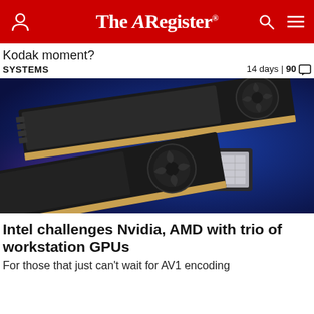The Register
Kodak moment?
SYSTEMS   14 days | 90
[Figure (photo): Three GPU/workstation graphics cards and a GPU chip laid out on a blue background. Two full cards with turbine-style coolers visible, one MXM-style chip module, and one card shown with a bracket.]
Intel challenges Nvidia, AMD with trio of workstation GPUs
For those that just can't wait for AV1 encoding